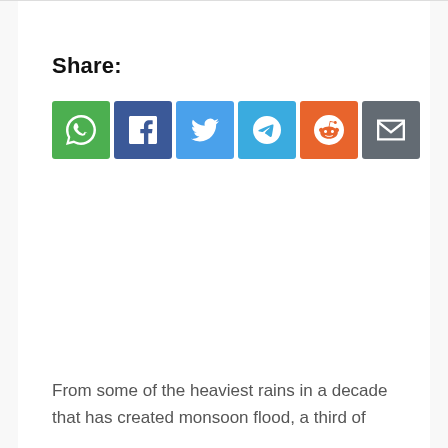Share:
[Figure (infographic): Row of six social share buttons: WhatsApp (green), Facebook (dark blue), Twitter (light blue), Telegram (sky blue), Reddit (orange), Email (gray)]
From some of the heaviest rains in a decade that has created monsoon flood, a third of